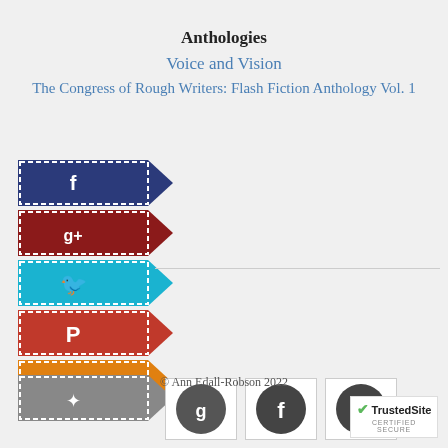Anthologies
Voice and Vision
The Congress of Rough Writers: Flash Fiction Anthology Vol. 1
[Figure (infographic): Six colored banner/flag shaped social media share buttons stacked vertically on the left side. Colors: dark blue (Facebook), dark red (Google+), cyan/blue (Twitter bird), red (Pinterest), orange (unknown), and grey (unknown). Each has a white dashed border and a notched right edge pointing left like a ribbon banner. Below the grey banner are three square social share buttons showing Google, Facebook, and email icons.]
© Ann Edall-Robson 2022
[Figure (logo): TrustedSite certified secure badge with green checkmark]